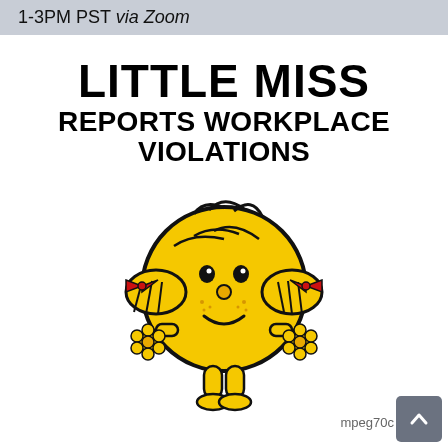1-3PM PST via Zoom
LITTLE MISS REPORTS WORKPLACE VIOLATIONS
[Figure (illustration): Little Miss character illustration: a round yellow cartoon girl figure with pigtails tied with red bows, smiling face with freckles and a round nose, holding yellow flowers in both hands, standing with stubby yellow legs and feet. Style mimics the Mr. Men / Little Miss book series.]
mpeg70c